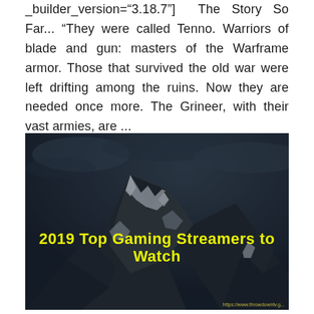_builder_version="3.18.7"] The Story So Far... "They were called Tenno. Warriors of blade and gun: masters of the Warframe armor. Those that survived the old war were left drifting among the ruins. Now they are needed once more. The Grineer, with their vast armies, are ...
[Figure (photo): A dark mountain peak (appears to be Matterhorn or similar alpine peak) with snow, dark cloudy sky. Yellow bold text overlay reads '2019 Top Gaming Streamers to Watch'. Small URL watermark in bottom right: https://www.throwdowntv.g...]